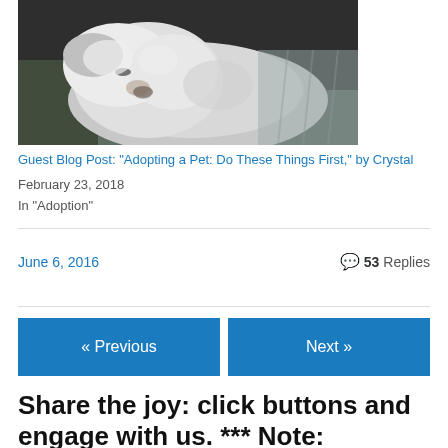[Figure (photo): Close-up photograph of a fluffy white dog sleeping on a light-colored surface]
Guest Blog Post: "Adopting a Pet: Do These Things First," by Crystal
February 23, 2018
In "Adoption"
June 6, 2016
53 Replies
« Previous
Next »
Share the joy: click buttons and engage with us. *** Note: WordPress